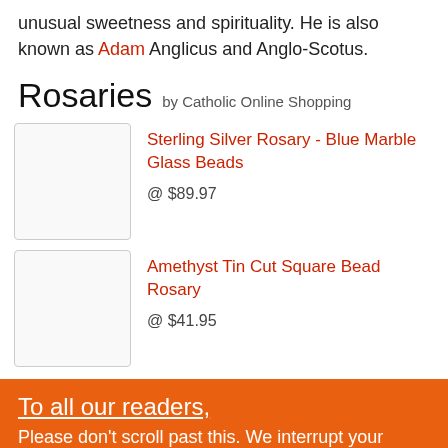unusual sweetness and spirituality. He is also known as Adam Anglicus and Anglo-Scotus.
Rosaries by Catholic Online Shopping
Sterling Silver Rosary - Blue Marble Glass Beads @ $89.97
Amethyst Tin Cut Square Bead Rosary @ $41.95
To all our readers, Please don't scroll past this. We interrupt your